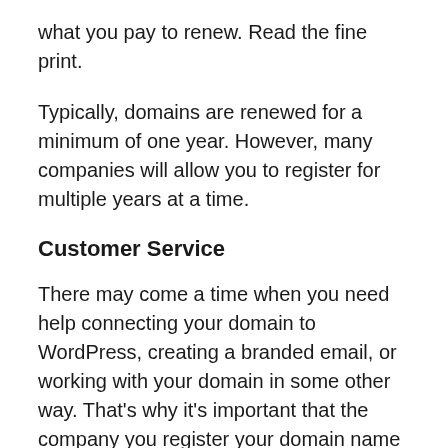what you pay to renew. Read the fine print.
Typically, domains are renewed for a minimum of one year. However, many companies will allow you to register for multiple years at a time.
Customer Service
There may come a time when you need help connecting your domain to WordPress, creating a branded email, or working with your domain in some other way. That’s why it’s important that the company you register your domain name with has stellar customer support.
Look for companies with support in multiple formats, like phone, email, and live chat. The